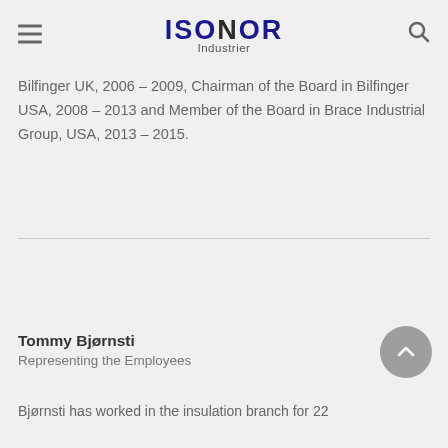ISONOR Industrier
Bilfinger UK, 2006 – 2009, Chairman of the Board in Bilfinger USA, 2008 – 2013 and Member of the Board in Brace Industrial Group, USA, 2013 – 2015.
Tommy Bjørnsti
Representing the Employees
Bjørnsti has worked in the insulation branch for 22